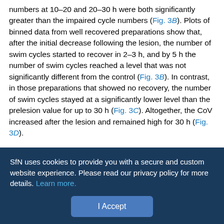numbers at 10–20 and 20–30 h were both significantly greater than the impaired cycle numbers (Fig. 3B). Plots of binned data from well recovered preparations show that, after the initial decrease following the lesion, the number of swim cycles started to recover in 2–3 h, and by 5 h the number of swim cycles reached a level that was not significantly different from the control (Fig. 3B). In contrast, in those preparations that showed no recovery, the number of swim cycles stayed at a significantly lower level than the prelesion value for up to 30 h (Fig. 3C). Altogether, the CoV increased after the lesion and remained high for 30 h (Fig. 3D).
There was no correlation between the number of swim cycles and the resting potential of the CPG neurons throughout the experiment (Fig. 4Ai-iii Bi-iii Ci-iii). Furthermore, there was no significant
SfN uses cookies to provide you with a secure and custom website experience. Please read our privacy policy for more details. Learn more.